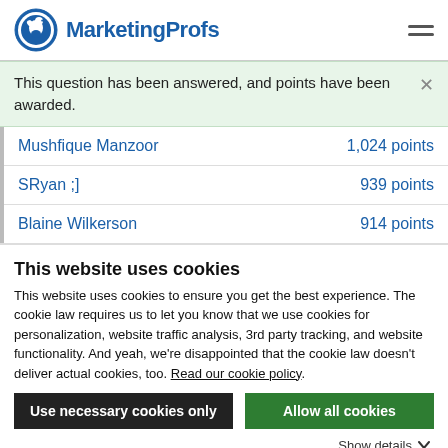MarketingProfs
This question has been answered, and points have been awarded.
| Name | Points |
| --- | --- |
| Mushfique Manzoor | 1,024 points |
| SRyan ;] | 939 points |
| Blaine Wilkerson | 914 points |
This website uses cookies
This website uses cookies to ensure you get the best experience. The cookie law requires us to let you know that we use cookies for personalization, website traffic analysis, 3rd party tracking, and website functionality. And yeah, we're disappointed that the cookie law doesn't deliver actual cookies, too. Read our cookie policy.
Use necessary cookies only | Allow all cookies
Show details